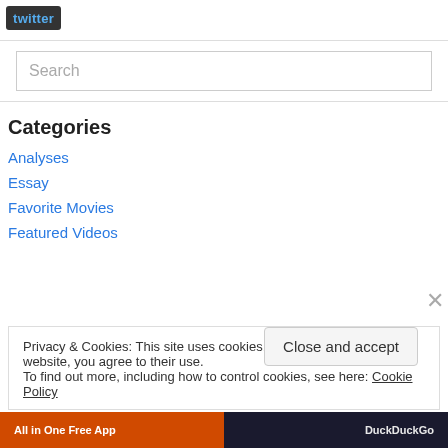[Figure (logo): Twitter logo button with bird icon and 'twitter' text on dark rounded rectangle background]
Search
Categories
Analyses
Essay
Favorite Movies
Featured Videos
Privacy & Cookies: This site uses cookies. By continuing to use this website, you agree to their use.
To find out more, including how to control cookies, see here: Cookie Policy
Close and accept
[Figure (screenshot): Advertisement bar at bottom with orange 'All in One Free App' on left and DuckDuckGo on right]